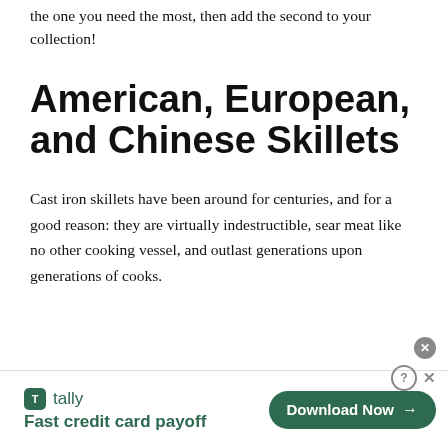the one you need the most, then add the second to your collection!
American, European, and Chinese Skillets
Cast iron skillets have been around for centuries, and for a good reason: they are virtually indestructible, sear meat like no other cooking vessel, and outlast generations upon generations of cooks.
[Figure (other): Advertisement banner for Tally app — 'Fast credit card payoff' with a green Download Now button and close/help controls.]